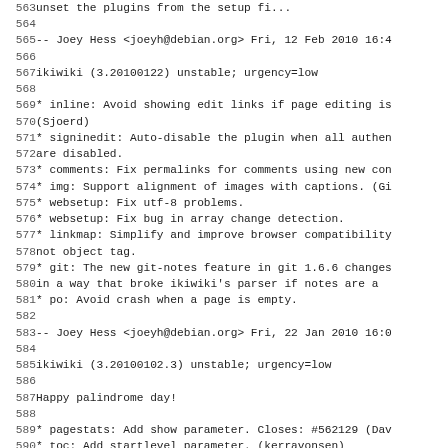Lines 563-595 of a Debian changelog for ikiwiki, showing entries for versions 3.20100122 and 3.20100102.3
563: [partial line - unset the plugins from the setup file]
564: (blank)
565: -- Joey Hess <joeyh@debian.org>  Fri, 12 Feb 2010 16:4...
566: (blank)
567: ikiwiki (3.20100122) unstable; urgency=low
568: (blank)
569:   * inline: Avoid showing edit links if page editing is...
570:     (Sjoerd)
571:   * signinedit: Auto-disable the plugin when all authen...
572:     are disabled.
573:   * comments: Fix permalinks for comments using new con...
574:   * img: Support alignment of images with captions. (Gi...
575:   * websetup: Fix utf-8 problems.
576:   * websetup: Fix bug in array change detection.
577:   * linkmap: Simplify and improve browser compatibility...
578:     not object tag.
579:   * git: The new git-notes feature in git 1.6.6 changes...
580:     in a way that broke ikiwiki's parser if notes are a...
581:   * po: Avoid crash when a page is empty.
582: (blank)
583: -- Joey Hess <joeyh@debian.org>  Fri, 22 Jan 2010 16:0...
584: (blank)
585: ikiwiki (3.20100102.3) unstable; urgency=low
586: (blank)
587:   Happy palindrome day!
588: (blank)
589:   * pagestats: Add show parameter. Closes: #562129 (Dav...
590:   * toc: Add startlevel parameter. (kerravonsen)
591:   * Remove example ikiwiki setup file from the Debian p...
592:     re-enables linking to /usr/share/ikiwiki/examples w...
593:     example sites also used by auto-blog.setup. The exa...
594:     can be generated at any time using ikiwiki --dumpse...
595:     not see a reason to ship it. Closes: #562183